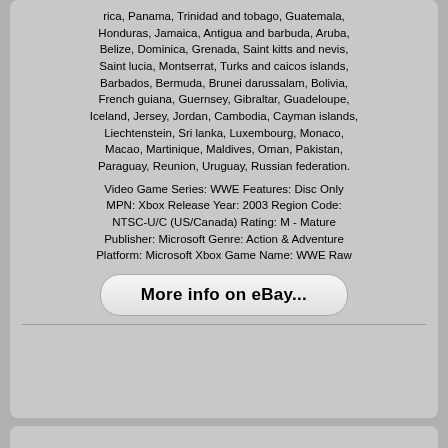rica, Panama, Trinidad and tobago, Guatemala, Honduras, Jamaica, Antigua and barbuda, Aruba, Belize, Dominica, Grenada, Saint kitts and nevis, Saint lucia, Montserrat, Turks and caicos islands, Barbados, Bermuda, Brunei darussalam, Bolivia, French guiana, Guernsey, Gibraltar, Guadeloupe, Iceland, Jersey, Jordan, Cambodia, Cayman islands, Liechtenstein, Sri lanka, Luxembourg, Monaco, Macao, Martinique, Maldives, Oman, Pakistan, Paraguay, Reunion, Uruguay, Russian federation.
Video Game Series: WWE Features: Disc Only MPN: Xbox Release Year: 2003 Region Code: NTSC-U/C (US/Canada) Rating: M - Mature Publisher: Microsoft Genre: Action & Adventure Platform: Microsoft Xbox Game Name: WWE Raw
[Figure (other): A rounded button labeled 'More info on eBay...']